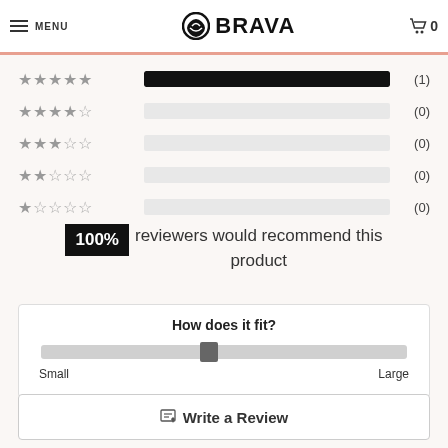BRAVA — Menu | Cart 0
[Figure (bar-chart): Star rating distribution]
100% reviewers would recommend this product
How does it fit? Small — Large
Write a Review